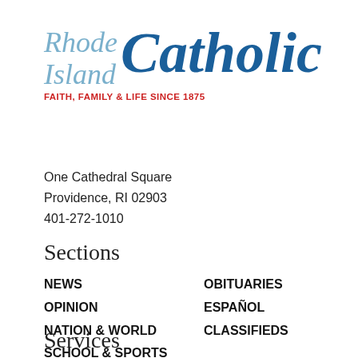[Figure (logo): Rhode Island Catholic newspaper logo with tagline 'FAITH, FAMILY & LIFE SINCE 1875']
One Cathedral Square
Providence, RI 02903
401-272-1010
Sections
NEWS
OPINION
NATION & WORLD
SCHOOL & SPORTS
OBITUARIES
ESPAÑOL
CLASSIFIEDS
Services